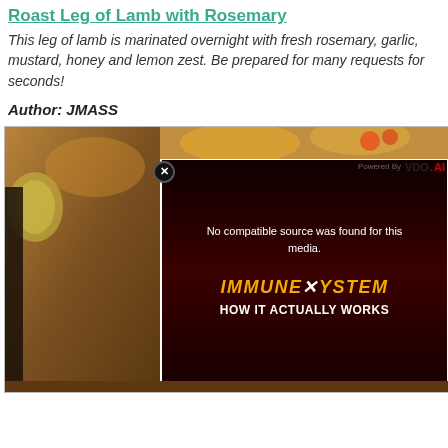Roast Leg of Lamb with Rosemary
This leg of lamb is marinated overnight with fresh rosemary, garlic, mustard, honey and lemon zest. Be prepared for many requests for seconds!
Author: JMASS
[Figure (screenshot): Food photo background showing roasted ingredients, overlaid with a VDO.AI video player showing 'No compatible source was found for this media.' message and an 'IMMUNE SYSTEM HOW IT ACTUALLY WORKS' video thumbnail graphic.]